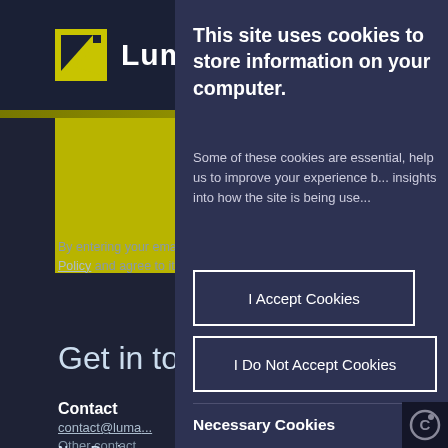[Figure (screenshot): Lumanity website background showing logo, yellow section, and footer contact details partially obscured by cookie consent overlay]
This site uses cookies to store information on your computer.
Some of these cookies are essential, help us to improve your experience b... insights into how the site is being use...
I Accept Cookies
I Do Not Accept Cookies
Necessary Cookies
Necessary cookies enable cor... as page navigation and ac...